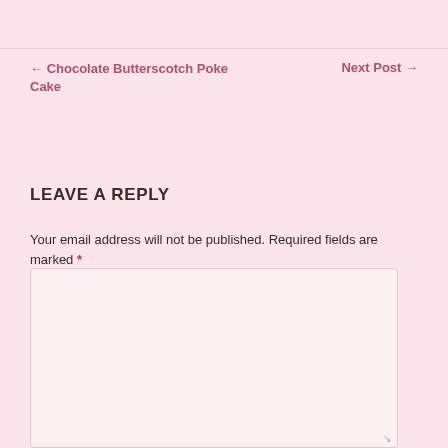← Chocolate Butterscotch Poke Cake
Next Post →
LEAVE A REPLY
Your email address will not be published. Required fields are marked *